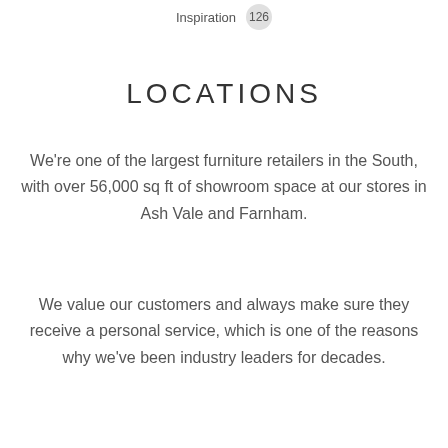Inspiration  126
LOCATIONS
We're one of the largest furniture retailers in the South, with over 56,000 sq ft of showroom space at our stores in Ash Vale and Farnham.
We value our customers and always make sure they receive a personal service, which is one of the reasons why we've been industry leaders for decades.